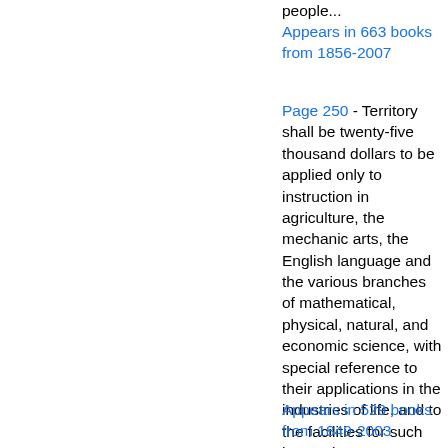people...
Appears in 663 books from 1856-2007
Page 250 - Territory shall be twenty-five thousand dollars to be applied only to instruction in agriculture, the mechanic arts, the English language and the various branches of mathematical, physical, natural, and economic science, with special reference to their applications in the industries of life, and to the facilities for such instruction...
Appears in 529 books from 1849-2003